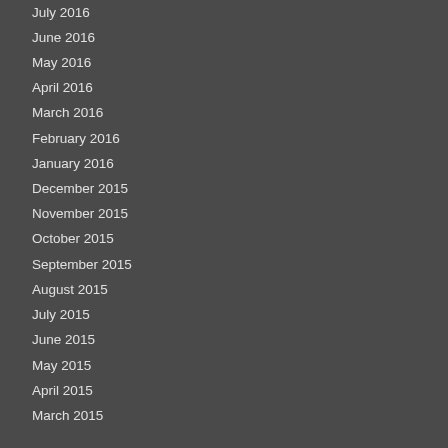July 2016
June 2016
May 2016
April 2016
March 2016
February 2016
January 2016
December 2015
November 2015
October 2015
September 2015
August 2015
July 2015
June 2015
May 2015
April 2015
March 2015